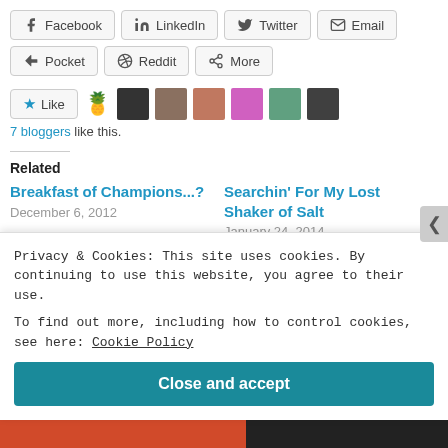[Figure (screenshot): Social share buttons row 1: Facebook, LinkedIn, Twitter, Email]
[Figure (screenshot): Social share buttons row 2: Pocket, Reddit, More]
[Figure (screenshot): Like button with star icon and 7 blogger avatars including pineapple emoji and profile photos]
7 bloggers like this.
Related
Breakfast of Champions...?
December 6, 2012
Searchin' For My Lost Shaker of Salt
January 24, 2014
Privacy & Cookies: This site uses cookies. By continuing to use this website, you agree to their use.
To find out more, including how to control cookies, see here: Cookie Policy
Close and accept